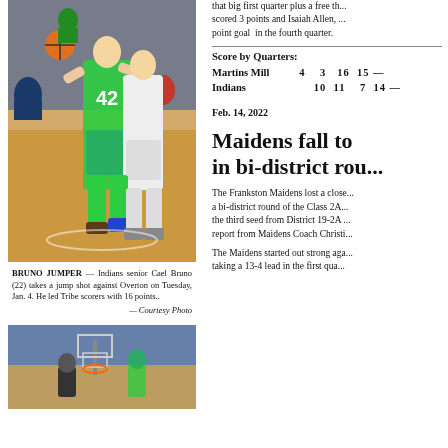[Figure (photo): Basketball player wearing green jersey #42 takes a jump shot against a defender in white, on a basketball court with spectators in background.]
BRUNO JUMPER — Indians senior Cael Bruno (22) takes a jump shot against Overton on Tuesday, Jan. 4. He led Tribe scorers with 16 points..
— Courtesy Photo
[Figure (photo): Basketball game photo showing players near the basket area.]
that big first quarter plus a free th... scored 3 points and Isaiah Allen, ... point goal in the fourth quarter.
Score by Quarters:
|  | Q1 | Q2 | Q3 | Q4 |  |
| --- | --- | --- | --- | --- | --- |
| Martins Mill | 4 | 3 | 16 | 15 | — |
| Indians | 10 | 11 | 7 | 14 | — |
Feb. 14, 2022
Maidens fall to ... in bi-district rou...
The Frankston Maidens lost a close... a bi-district round of the Class 2A... the third seed from District 19-2A... report from Maidens Coach Christi...
The Maidens started out strong aga... taking a 13-4 lead in the first qua...